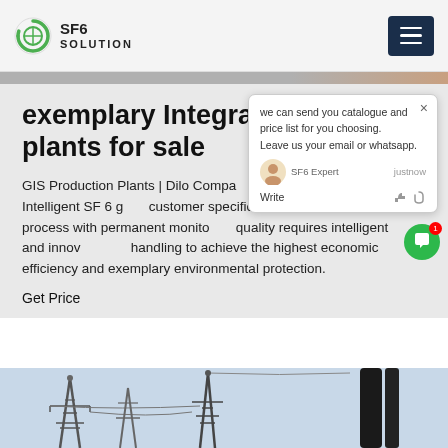SF6 SOLUTION
exemplary Integral SF6 plants for sale
GIS Production Plants | Dilo Company for GIS Production Intelligent SF 6 gas customer specific versions. Automatic process with permanent monitoring quality requires intelligent and innovative handling to achieve the highest economic efficiency and exemplary environmental protection.
Get Price
[Figure (screenshot): Chat popup overlay showing 'we can send you catalogue and price list for you choosing. Leave us your email or whatsapp.' with SF6 Expert agent label and justnow timestamp, Write field with thumbs up and paperclip icons]
[Figure (photo): Electrical power infrastructure with overhead lines and transmission towers against a light sky]